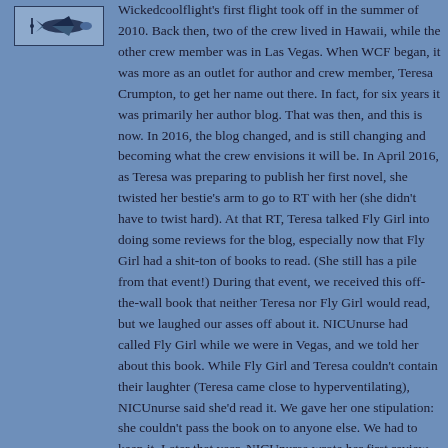[Figure (logo): Wickedcoolflight logo with airplane graphic]
Wickedcoolflight's first flight took off in the summer of 2010. Back then, two of the crew lived in Hawaii, while the other crew member was in Las Vegas. When WCF began, it was more as an outlet for author and crew member, Teresa Crumpton, to get her name out there. In fact, for six years it was primarily her author blog. That was then, and this is now. In 2016, the blog changed, and is still changing and becoming what the crew envisions it will be. In April 2016, as Teresa was preparing to publish her first novel, she twisted her bestie's arm to go to RT with her (she didn't have to twist hard). At that RT, Teresa talked Fly Girl into doing some reviews for the blog, especially now that Fly Girl had a shit-ton of books to read. (She still has a pile from that event!) During that event, we received this off-the-wall book that neither Teresa nor Fly Girl would read, but we laughed our asses off about it. NICUnurse had called Fly Girl while we were in Vegas, and we told her about this book. While Fly Girl and Teresa couldn't contain their laughter (Teresa came close to hyperventilating), NICUnurse said she'd read it. We gave her one stipulation: she couldn't pass the book on to anyone else. We had to keep it. Later that year, NICUnurse wrote her first review for WCF about that book. A few months later, unbeknownst to NICUnurse, Fly Girl and Teresa were making plans to bring her